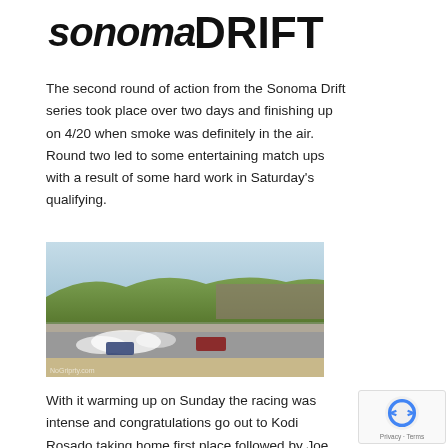[Figure (logo): Sonoma Drift logo in bold italic black text]
The second round of action from the Sonoma Drift series took place over two days and finishing up on 4/20 when smoke was definitely in the air. Round two led to some entertaining match ups with a result of some hard work in Saturday's qualifying.
[Figure (photo): Two cars drifting on a race track at Sonoma Raceway, with smoke, green hills in the background and grandstands visible]
With it warming up on Sunday the racing was intense and congratulations go out to Kodi Rosado taking home first place followed by Joe Tardiff with Matt Madrigali rounding out the top 3. After the first two rounds of action the Series is